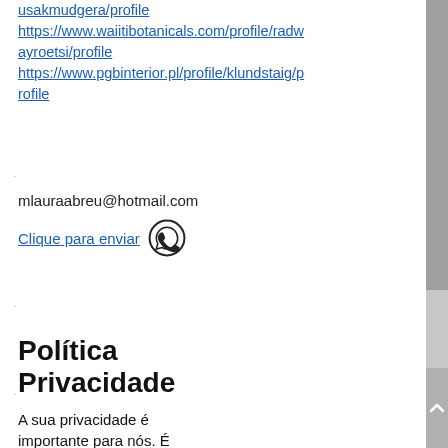usakmudgera/profile
https://www.waiitibotanicals.com/profile/radwayroetsi/profile
https://www.pgbinterior.pl/profile/klundstaig/profile
mlauraabreu@hotmail.com
Clique para enviar
Política Privacidade
A sua privacidade é importante para nós. É